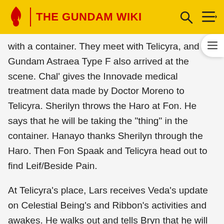THE GUNDAM WIKI
with a container. They meet with Telicyra, and the Gundam Astraea Type F also arrived at the scene. Chal' gives the Innovade medical treatment data made by Doctor Moreno to Telicyra. Sherilyn throws the Haro at Fon. He says that he will be taking the "thing" in the container. Hanayo thanks Sherilyn through the Haro. Then Fon Spaak and Telicyra head out to find Leif/Beside Pain.
At Telicyra's place, Lars receives Veda's update on Celestial Being's and Ribbon's activities and awakes. He walks out and tells Bryn that he will not die until he atones for his sins. Bryn plead for him to stay. With Lars refusing, Bryn sends a QBW message to Sulu and Hermiya saying, "Stop my father." In the next scene, Leif/Beside Pain arrives at an unknown facility. He has lost his whole